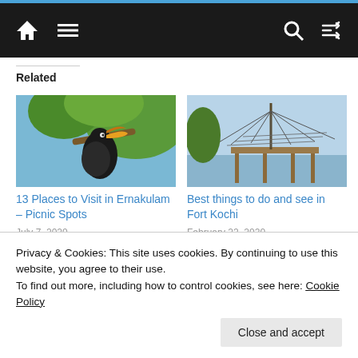Navigation bar with home, menu, search, and shuffle icons
Related
[Figure (photo): A hornbill bird sitting on a tree branch, with green foliage background]
13 Places to Visit in Ernakulam – Picnic Spots
July 7, 2020
[Figure (photo): Chinese fishing nets at Fort Kochi waterfront with water and sky in background]
Best things to do and see in Fort Kochi
February 22, 2020
In "Travel and Living"
Privacy & Cookies: This site uses cookies. By continuing to use this website, you agree to their use.
To find out more, including how to control cookies, see here: Cookie Policy
Close and accept
4 Best Things to Do in